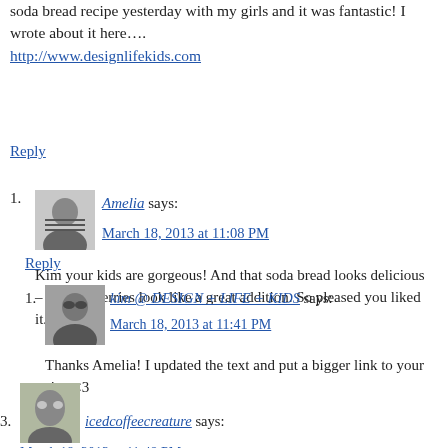soda bread recipe yesterday with my girls and it was fantastic! I wrote about it here….
http://www.designlifekids.com
Reply
1. Amelia says:
March 18, 2013 at 11:08 PM

Kim your kids are gorgeous! And that soda bread looks delicious – the cranberries look like a great addition. So pleased you liked it. :)
Reply
1. kim @ DESIGN + LIFE + KIDS says:
March 18, 2013 at 11:41 PM

Thanks Amelia! I updated the text and put a bigger link to your site. <3
3. icedcoffeecreature says:
March 18, 2013 at 11:48 PM

Oooh my! It looks absolutely delicious! Will have to give it